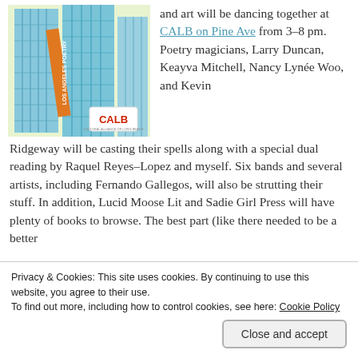[Figure (illustration): Book cover art showing tall blue skyscraper buildings with colorful abstract illustration and CALB logo in lower right corner]
and art will be dancing together at CALB on Pine Ave from 3-8 pm. Poetry magicians, Larry Duncan, Keayva Mitchell, Nancy Lynée Woo, and Kevin Ridgeway will be casting their spells along with a special dual reading by Raquel Reyes-Lopez and myself. Six bands and several artists, including Fernando Gallegos, will also be strutting their stuff. In addition, Lucid Moose Lit and Sadie Girl Press will have plenty of books to browse. The best part (like there needed to be a better
Privacy & Cookies: This site uses cookies. By continuing to use this website, you agree to their use.
To find out more, including how to control cookies, see here: Cookie Policy
Close and accept